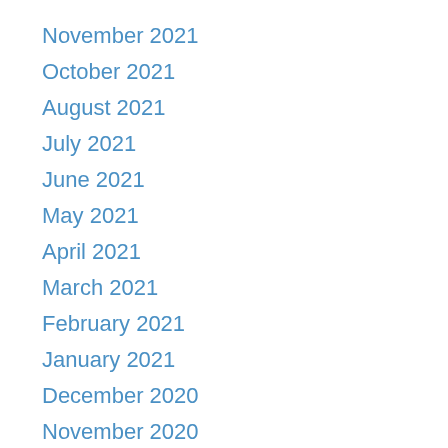November 2021
October 2021
August 2021
July 2021
June 2021
May 2021
April 2021
March 2021
February 2021
January 2021
December 2020
November 2020
October 2020
September 2020
August 2020